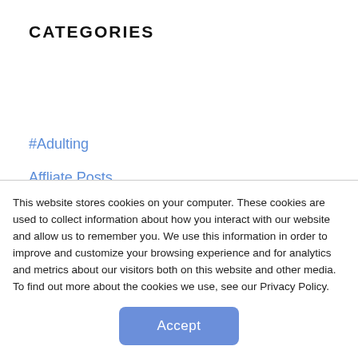CATEGORIES
#Adulting
Affliate Posts
Around the World
Design Ideas
Editor Picks
Ideas & Advice
Industry Insights
Just for Fun
This website stores cookies on your computer. These cookies are used to collect information about how you interact with our website and allow us to remember you. We use this information in order to improve and customize your browsing experience and for analytics and metrics about our visitors both on this website and other media. To find out more about the cookies we use, see our Privacy Policy.